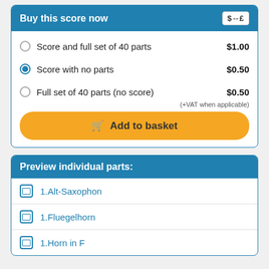Buy this score now
Score and full set of 40 parts   $1.00
Score with no parts   $0.50
Full set of 40 parts (no score)   $0.50
(+VAT when applicable)
Add to basket
Preview individual parts:
1.Alt-Saxophon
1.Fluegelhorn
1.Horn in F